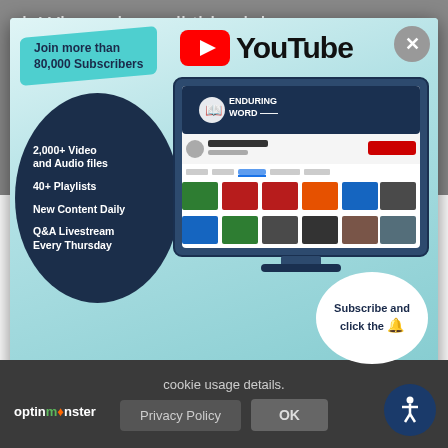j. Where does all this violence, immorality, cruelty and degradation come from? It happens when men abandon the true knowledge of God, and
[Figure (infographic): YouTube channel advertisement popup for Enduring Word. Shows 'Join more than 80,000 Subscribers' banner, YouTube logo, monitor mockup showing Enduring Word YouTube channel, circle with: '2,000+ Video and Audio files', '40+ Playlists', 'New Content Daily', 'Q&A Livestream Every Thursday', and 'Subscribe and click the [bell]' circle.]
cookie usage details.
Privacy Policy
OK
optinmonster